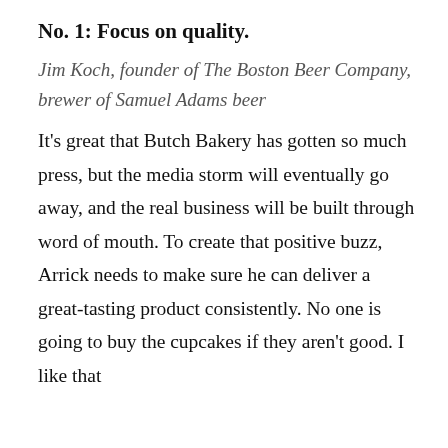No. 1: Focus on quality.
Jim Koch, founder of The Boston Beer Company, brewer of Samuel Adams beer
It's great that Butch Bakery has gotten so much press, but the media storm will eventually go away, and the real business will be built through word of mouth. To create that positive buzz, Arrick needs to make sure he can deliver a great-tasting product consistently. No one is going to buy the cupcakes if they aren't good. I like that